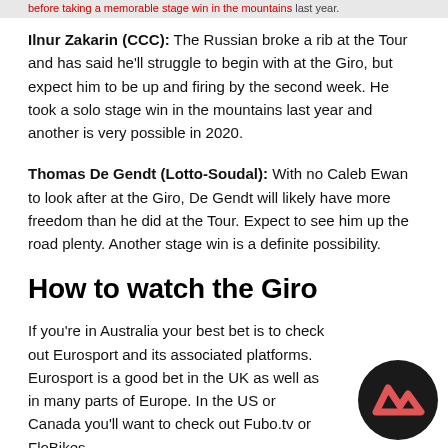…before taking a memorable stage win in the mountains last year.
Ilnur Zakarin (CCC): The Russian broke a rib at the Tour and has said he'll struggle to begin with at the Giro, but expect him to be up and firing by the second week. He took a solo stage win in the mountains last year and another is very possible in 2020.
Thomas De Gendt (Lotto-Soudal): With no Caleb Ewan to look after at the Giro, De Gendt will likely have more freedom than he did at the Tour. Expect to see him up the road plenty. Another stage win is a definite possibility.
How to watch the Giro
If you're in Australia your best bet is to check out Eurosport and its associated platforms. Eurosport is a good bet in the UK as well as in many parts of Europe. In the US or Canada you'll want to check out Fubo.tv or FloBikes.
[Figure (logo): Circular black logo with red/pink zigzag chevron mark]